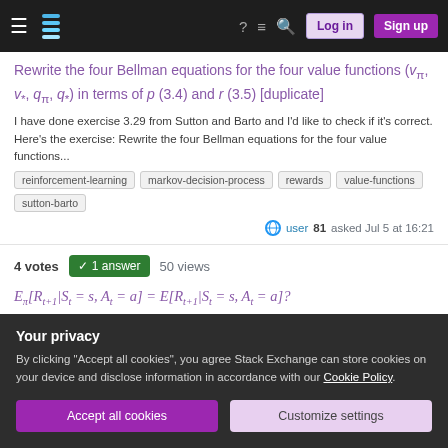Stack Exchange navigation bar with Log in and Sign up buttons
Rewrite the four Bellman equations for the four value functions (v_π, v_*, q_π, q_*) in terms of p (3.4) and r (3.5) [duplicate]
I have done exercise 3.29 from Sutton and Barto and I'd like to check if it's correct. Here's the exercise: Rewrite the four Bellman equations for the four value functions...
reinforcement-learning
markov-decision-process
rewards
value-functions
sutton-barto
user 81 asked Jul 5 at 16:21
4 votes  ✓ 1 answer  50 views
Your privacy
By clicking "Accept all cookies", you agree Stack Exchange can store cookies on your device and disclose information in accordance with our Cookie Policy.
Accept all cookies
Customize settings